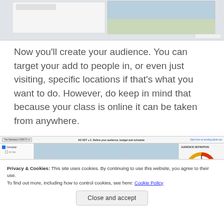[Figure (screenshot): Screenshot of a web interface showing a map view with a 'Report a Problem' button in the bottom right corner.]
Now you'll create your audience. You can target your add to people in, or even just visiting, specific locations if that's what you want to do. However, do keep in mind that because your class is online it can be taken from anywhere.
[Figure (screenshot): Screenshot of an advertising platform interface with a toolbar, sidebar with Campaign/Ad Set options, a map view for location targeting, and an Audience Definition panel with a gauge meter. A Privacy & Cookies banner overlays the bottom.]
Privacy & Cookies: This site uses cookies. By continuing to use this website, you agree to their use.
To find out more, including how to control cookies, see here: Cookie Policy
Close and accept